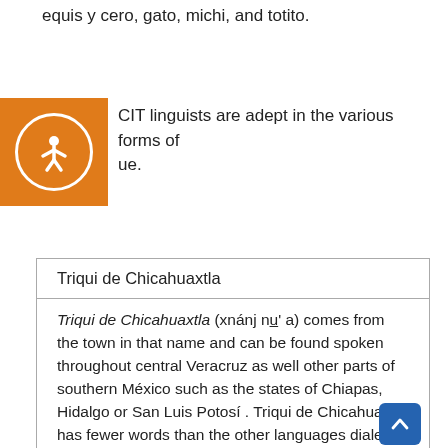equis y cero, gato, michi, and totito.
CIT linguists are adept in the various forms of ue.
| Triqui de Chicahuaxtla |
| --- |
| Triqui de Chicahuaxtla (xnánj nu̲' a) comes from the town in that name and can be found spoken throughout central Veracruz as well other parts of southern México such as the states of Chiapas, Hidalgo or San Luis Potosí . Triqui de Chicahuaxtla has fewer words than the other languages dialects. |
| Triqui de San Martín Itunyoso |